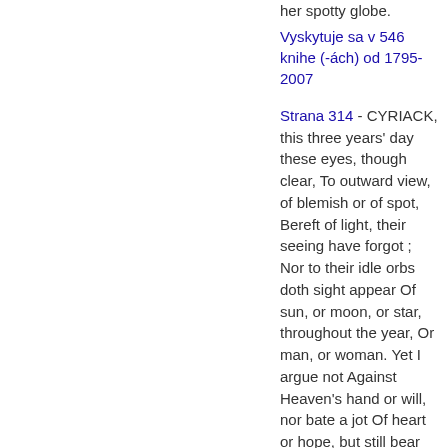her spotty globe.
Vyskytuje sa v 546 knihe (-ách) od 1795-2007
Strana 314 - CYRIACK, this three years' day these eyes, though clear, To outward view, of blemish or of spot, Bereft of light, their seeing have forgot ; Nor to their idle orbs doth sight appear Of sun, or moon, or star, throughout the year, Or man, or woman. Yet I argue not Against Heaven's hand or will, nor bate a jot Of heart or hope, but still bear up and steer Right onward. What supports me, dost thou ask ? The conscience, friend, to have lost them supplied